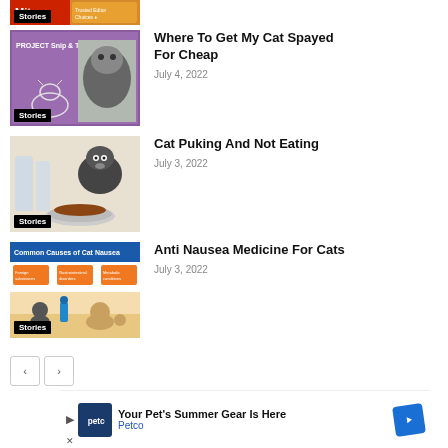[Figure (photo): Partial thumbnail of a cat-related article at top, partially cut off, with Stories badge]
[Figure (photo): Thumbnail image with purple background showing a cat and text 'PROJECT Snip & Tip', Stories badge]
Where To Get My Cat Spayed For Cheap
July 4, 2022
[Figure (photo): Photo of a black and white cat near a bowl of cat food with glass bottles in background, Stories badge]
Cat Puking And Not Eating
July 3, 2022
[Figure (infographic): Infographic titled 'Common Causes of Cat Nausea' showing orange boxes and cartoon cats, Stories badge]
Anti Nausea Medicine For Cats
July 3, 2022
< >
[Figure (other): Petco advertisement banner: Your Pet's Summer Gear Is Here, Petco logo]